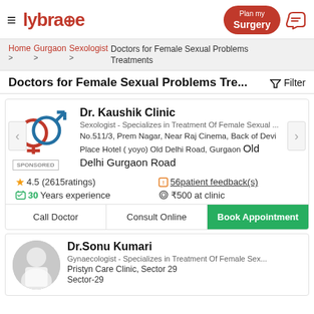lybrate — Plan my Surgery
Home > Gurgaon > Sexologist > Doctors for Female Sexual Problems Treatments
Doctors for Female Sexual Problems Tre...
Filter
Dr. Kaushik Clinic
Sexologist - Specializes in Treatment Of Female Sexual ...
No.511/3, Prem Nagar, Near Raj Cinema, Back of Devi Place Hotel ( yoyo) Old Delhi Road, Gurgaon Old Delhi Gurgaon Road
SPONSORED
4.5 (2615ratings)
56patient feedback(s)
30Years experience
₹500 at clinic
Call Doctor | Consult Online | Book Appointment
Dr.Sonu Kumari
Gynaecologist - Specializes in Treatment Of Female Sex...
Pristyn Care Clinic, Sector 29
Sector-29